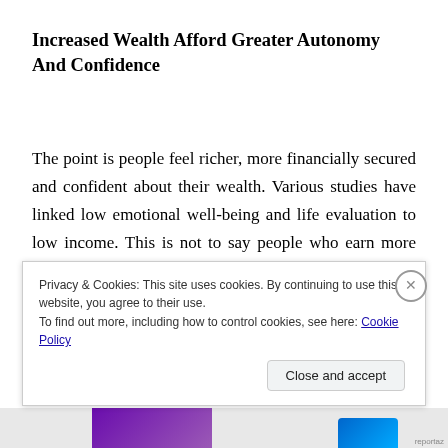Increased Wealth Afford Greater Autonomy And Confidence
The point is people feel richer, more financially secured and confident about their wealth. Various studies have linked low emotional well-being and life evaluation to low income. This is not to say people who earn more are not sometimes irritable, sad or angry even with the plenty they have. Moreover, upper class lives in a better environment and could afford luxurious life. This grants
Privacy & Cookies: This site uses cookies. By continuing to use this website, you agree to their use.
To find out more, including how to control cookies, see here: Cookie Policy